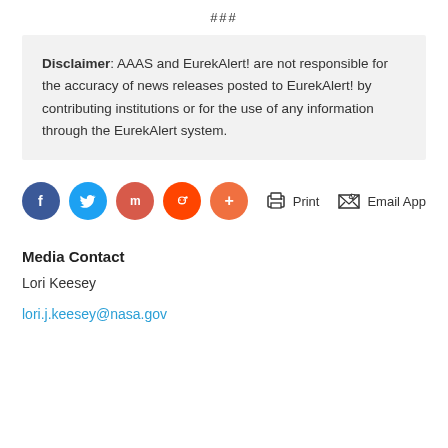###
Disclaimer: AAAS and EurekAlert! are not responsible for the accuracy of news releases posted to EurekAlert! by contributing institutions or for the use of any information through the EurekAlert system.
[Figure (other): Social sharing icons: Facebook (blue circle), Twitter (light blue circle), Mix (red circle), Reddit (orange circle), More/Plus (orange-red circle). Print and Email App action buttons with icons.]
Media Contact
Lori Keesey
lori.j.keesey@nasa.gov